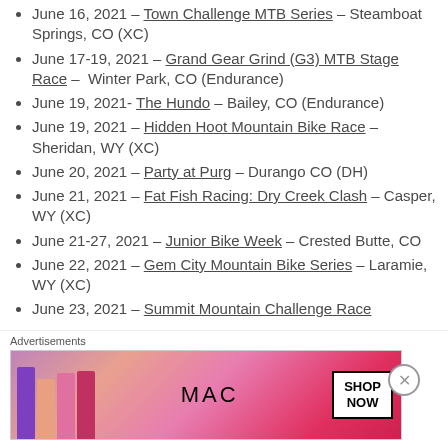June 16, 2021 – Town Challenge MTB Series – Steamboat Springs, CO (XC)
June 17-19, 2021 – Grand Gear Grind (G3) MTB Stage Race – Winter Park, CO (Endurance)
June 19, 2021- The Hundo – Bailey, CO (Endurance)
June 19, 2021 – Hidden Hoot Mountain Bike Race – Sheridan, WY (XC)
June 20, 2021 – Party at Purg – Durango CO (DH)
June 21, 2021 – Fat Fish Racing: Dry Creek Clash – Casper, WY (XC)
June 21-27, 2021 – Junior Bike Week – Crested Butte, CO
June 22, 2021 – Gem City Mountain Bike Series – Laramie, WY (XC)
June 23, 2021 – Summit Mountain Challenge Race
Advertisements
[Figure (other): MAC cosmetics advertisement banner showing lipsticks and SHOP NOW button]